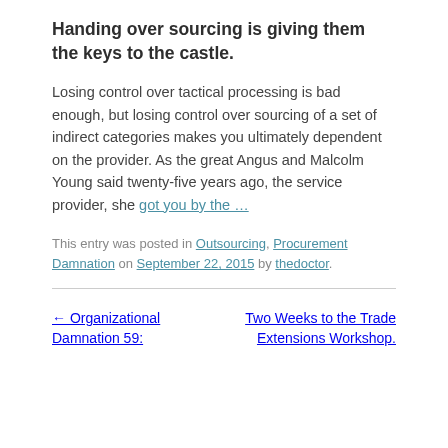Handing over sourcing is giving them the keys to the castle.
Losing control over tactical processing is bad enough, but losing control over sourcing of a set of indirect categories makes you ultimately dependent on the provider. As the great Angus and Malcolm Young said twenty-five years ago, the service provider, she got you by the …
This entry was posted in Outsourcing, Procurement Damnation on September 22, 2015 by thedoctor.
← Organizational Damnation 59:
Two Weeks to the Trade Extensions Workshop.